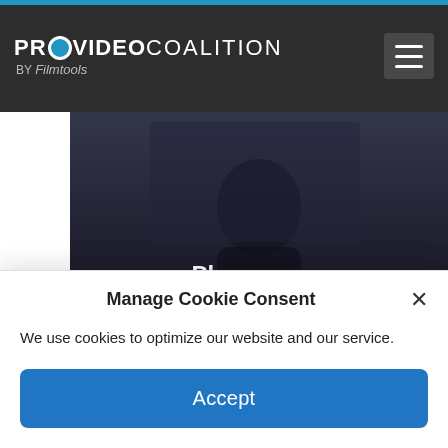PROVIDEO COALITION BY Filmtools
[Figure (screenshot): Video player showing player error message over a dark cinematic background with a silhouette. Text reads: Player error. The player is having trouble. We'll have it back up and running as soon as possible.]
HULLFISH: What in Slumdog Millionaire do you think your fellow editors say that earned it
Manage Cookie Consent
We use cookies to optimize our website and our service.
Accept